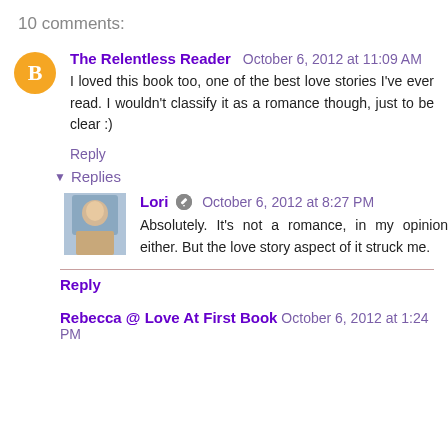10 comments:
The Relentless Reader October 6, 2012 at 11:09 AM
I loved this book too, one of the best love stories I've ever read. I wouldn't classify it as a romance though, just to be clear :)
Reply
▼ Replies
Lori ✏ October 6, 2012 at 8:27 PM
Absolutely. It's not a romance, in my opinion either. But the love story aspect of it struck me.
Reply
Rebecca @ Love At First Book October 6, 2012 at 1:24 PM